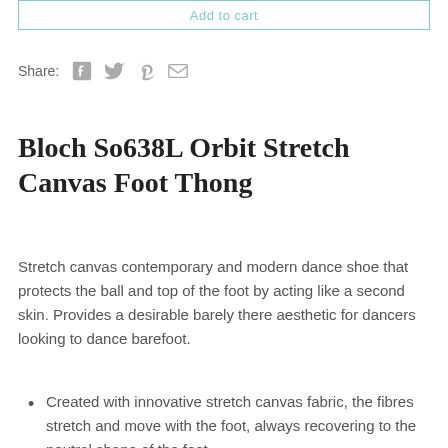[Figure (other): Add to cart button with teal/mint border]
Share:
[Figure (other): Social share icons: Facebook, Twitter, Pinterest, Email]
Bloch So638L Orbit Stretch Canvas Foot Thong
Stretch canvas contemporary and modern dance shoe that protects the ball and top of the foot by acting like a second skin. Provides a desirable barely there aesthetic for dancers looking to dance barefoot.
Created with innovative stretch canvas fabric, the fibres stretch and move with the foot, always recovering to the neutral shape of the foot.